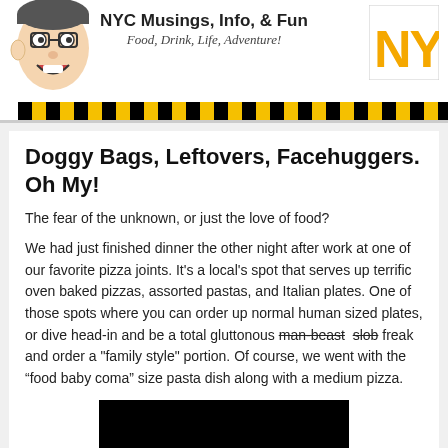[Figure (illustration): NYC blog header banner with cartoon man face on left, 'NYC Musings, Info, & Fun / Food, Drink, Life, Adventure!' text in center, orange NYC logo on right, yellow-black checker bar at bottom]
Doggy Bags, Leftovers, Facehuggers. Oh My!
The fear of the unknown, or just the love of food?
We had just finished dinner the other night after work at one of our favorite pizza joints. It's a local's spot that serves up terrific oven baked pizzas, assorted pastas, and Italian plates. One of those spots where you can order up normal human sized plates, or dive head-in and be a total gluttonous man-beast slob freak and order a "family style" portion. Of course, we went with the “food baby coma” size pasta dish along with a medium pizza.
[Figure (photo): Black image, content obscured]